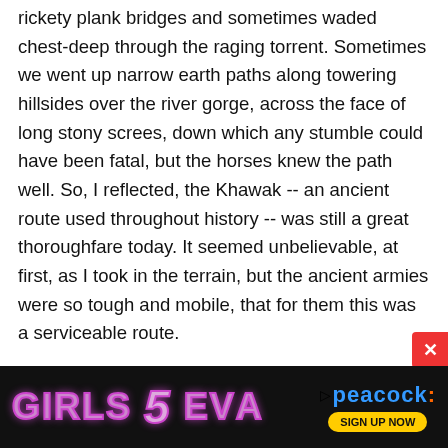rickety plank bridges and sometimes waded chest-deep through the raging torrent. Sometimes we went up narrow earth paths along towering hillsides over the river gorge, across the face of long stony screes, down which any stumble could have been fatal, but the horses knew the path well. So, I reflected, the Khawak -- an ancient route used throughout history -- was still a great thoroughfare today. It seemed unbelievable, at first, as I took in the terrain, but the ancient armies were so tough and mobile, that for them this was a serviceable route.

That night we stopped at a cluster of stables and mud-brick dormitories which we shared with our fellow
[Figure (other): Advertisement banner for Girls5Eva on Peacock streaming service. Dark/black background with colorful LED-style text reading 'GIRLS 5 EVA' and the Peacock logo with 'SIGN UP NOW' button. A red close/X button is visible on the right side.]